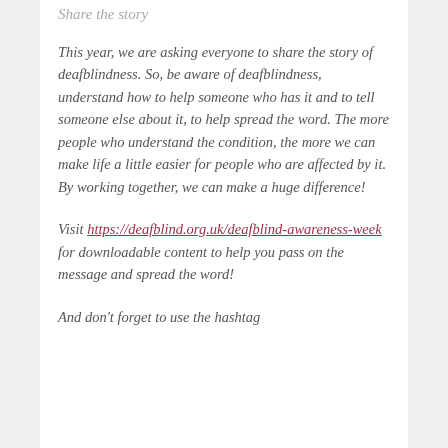Share the story
This year, we are asking everyone to share the story of deafblindness. So, be aware of deafblindness, understand how to help someone who has it and to tell someone else about it, to help spread the word. The more people who understand the condition, the more we can make life a little easier for people who are affected by it. By working together, we can make a huge difference!
Visit https://deafblind.org.uk/deafblind-awareness-week for downloadable content to help you pass on the message and spread the word!
And don't forget to use the hashtag